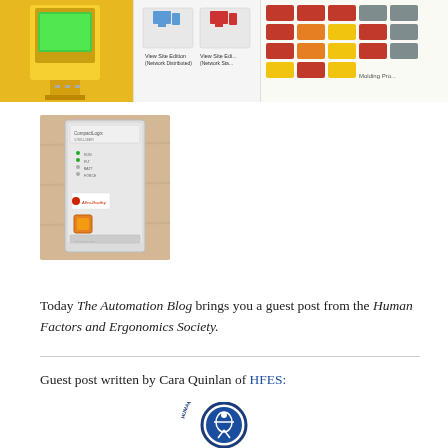[Figure (photo): Yellow industrial device/sensor mounted on yellow stand with green indicator light]
[Figure (screenshot): Screenshot showing View Site Edition Network Distributed and Network Standard icons]
[Figure (screenshot): Grid of colored (red, yellow, green) indicator boxes labeled Molding Process]
[Figure (photo): Allen Bradley white industrial controller/module device on wooden surface]
Today The Automation Blog brings you a guest post from the Human Factors and Ergonomics Society.
Guest post written by Cara Quinlan of HFES:
[Figure (logo): Human Factors and Ergonomics Society circular seal/logo in blue]